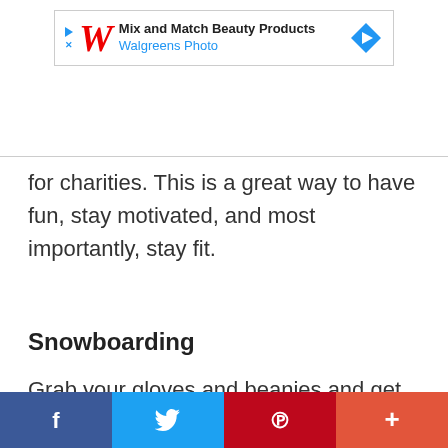[Figure (other): Advertisement banner for Walgreens Photo: Mix and Match Beauty Products, with Walgreens red cursive W logo and blue diamond arrow icon]
for charities. This is a great way to have fun, stay motivated, and most importantly, stay fit.
Snowboarding
Grab your gloves and beanies and get those boards out of storage because it is time to hit the slopes! Not only will snowboarding tone your legs, arms, and stomach muscles,
[Figure (other): Social sharing bar with Facebook, Twitter, Pinterest, and plus/share buttons]